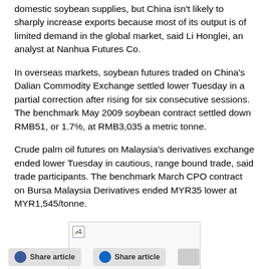domestic soybean supplies, but China isn't likely to sharply increase exports because most of its output is of limited demand in the global market, said Li Honglei, an analyst at Nanhua Futures Co.
In overseas markets, soybean futures traded on China's Dalian Commodity Exchange settled lower Tuesday in a partial correction after rising for six consecutive sessions. The benchmark May 2009 soybean contract settled down RMB51, or 1.7%, at RMB3,035 a metric tonne.
Crude palm oil futures on Malaysia's derivatives exchange ended lower Tuesday in cautious, range bound trade, said trade participants. The benchmark March CPO contract on Bursa Malaysia Derivatives ended MYR35 lower at MYR1,545/tonne.
[Figure (photo): Broken/loading image placeholder with small image icon in top-left corner]
Share article   Share article